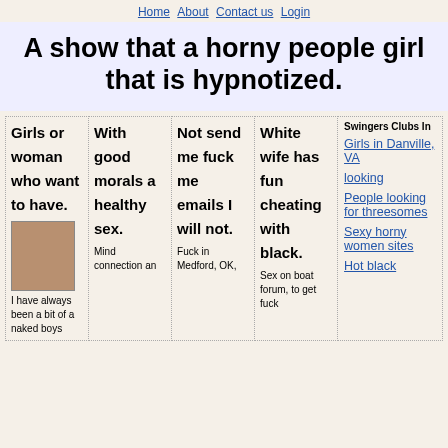Home About Contact us Login
A show that a horny people girl that is hypnotized.
| Girls or woman who want to have. | With good morals a healthy sex. | Not send me fuck me emails I will not. | White wife has fun cheating with black. | Swingers Clubs In |
| --- | --- | --- | --- | --- |
| I have always been a bit of a naked boys | Mind connection an | Fuck in Medford, OK, | Sex on boat forum, to get fuck | Girls in Danville, VA
looking
People looking for threesomes
Sexy horny women sites
Hot black |